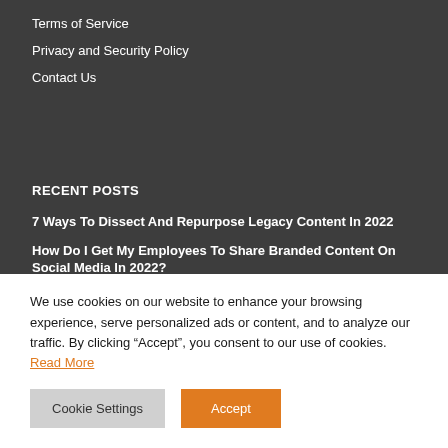Terms of Service
Privacy and Security Policy
Contact Us
RECENT POSTS
7 Ways To Dissect And Repurpose Legacy Content In 2022
How Do I Get My Employees To Share Branded Content On Social Media In 2022?
We use cookies on our website to enhance your browsing experience, serve personalized ads or content, and to analyze our traffic. By clicking “Accept”, you consent to our use of cookies. Read More
Cookie Settings | Accept